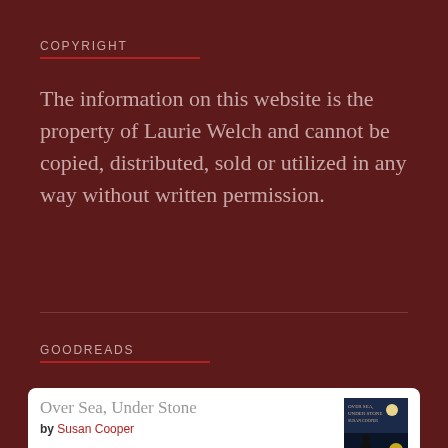COPYRIGHT
The information on this website is the property of Laurie Welch and cannot be copied, distributed, sold or utilized in any way without written permission.
GOODREADS
Over Sea, Under Stone
by Susan Cooper
God on Your Own: Finding a Spiritual Path Outside Religion